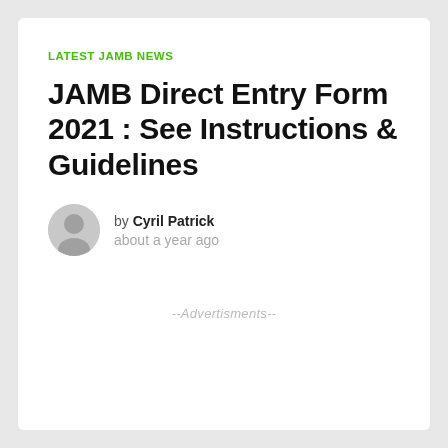LATEST JAMB NEWS
JAMB Direct Entry Form 2021 : See Instructions & Guidelines
by Cyril Patrick
about a year ago
--Advertisments--